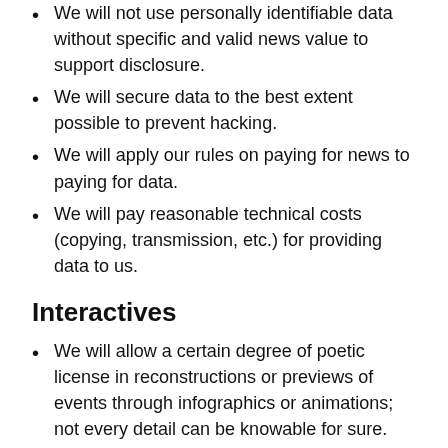We will not use personally identifiable data without specific and valid news value to support disclosure.
We will secure data to the best extent possible to prevent hacking.
We will apply our rules on paying for news to paying for data.
We will pay reasonable technical costs (copying, transmission, etc.) for providing data to us.
Interactives
We will allow a certain degree of poetic license in reconstructions or previews of events through infographics or animations; not every detail can be knowable for sure.
Photo and Video